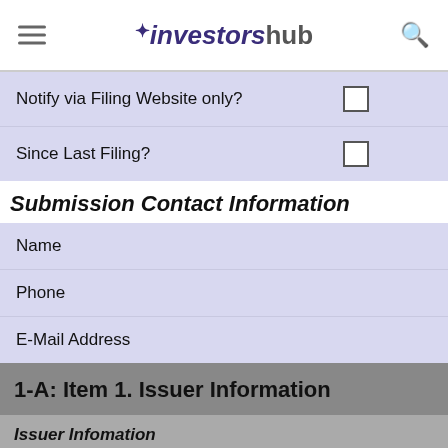investorshub
| Label | Checkbox |
| --- | --- |
| Notify via Filing Website only? | ☐ |
| Since Last Filing? | ☐ |
Submission Contact Information
| Field |
| --- |
| Name |
| Phone |
| E-Mail Address |
1-A: Item 1. Issuer Information
Issuer Infomation